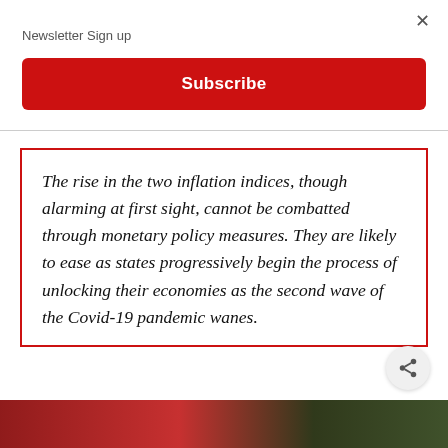×
Newsletter Sign up
Subscribe
The rise in the two inflation indices, though alarming at first sight, cannot be combatted through monetary policy measures. They are likely to ease as states progressively begin the process of unlocking their economies as the second wave of the Covid-19 pandemic wanes.
[Figure (photo): Photo strip at the bottom of the page showing partial news images]